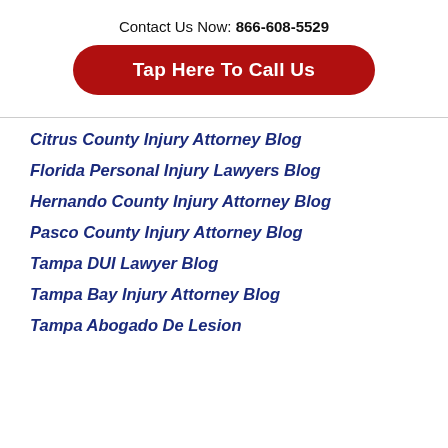Contact Us Now: 866-608-5529
[Figure (other): Red rounded button with white text: Tap Here To Call Us]
Citrus County Injury Attorney Blog
Florida Personal Injury Lawyers Blog
Hernando County Injury Attorney Blog
Pasco County Injury Attorney Blog
Tampa DUI Lawyer Blog
Tampa Bay Injury Attorney Blog
Tampa Abogado De Lesion